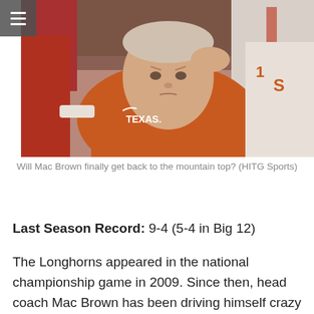[Figure (photo): A man wearing an orange Texas Longhorns polo shirt with a stressed or concerned expression, surrounded by football players in white uniforms. He has his hand raised near his head.]
Will Mac Brown finally get back to the mountain top? (HITG Sports)
Last Season Record: 9-4 (5-4 in Big 12)
The Longhorns appeared in the national championship game in 2009. Since then, head coach Mac Brown has been driving himself crazy trying to find a winning formula at Texas. It's not that his teams have lacked